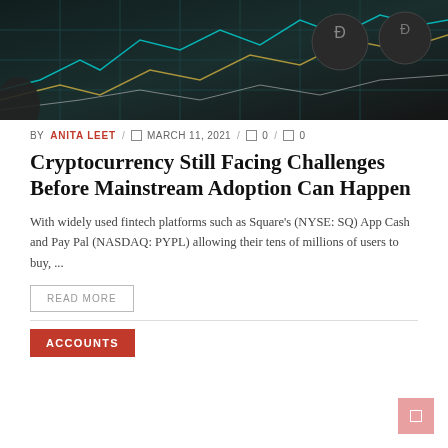[Figure (photo): Dark cryptocurrency-themed hero image with cyan grid lines, colorful chart lines, and Dogecoin logos on the right side against a dark background]
BY ANITA LEET / MARCH 11, 2021 / 0 / 0
Cryptocurrency Still Facing Challenges Before Mainstream Adoption Can Happen
With widely used fintech platforms such as Square's (NYSE: SQ) App Cash and Pay Pal (NASDAQ: PYPL) allowing their tens of millions of users to buy, ...
READ MORE
ACCOUNTS